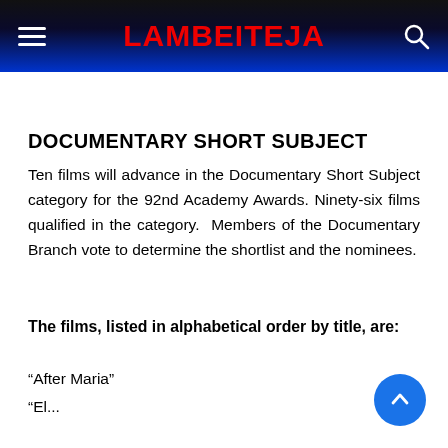LAMBEITEJA
DOCUMENTARY SHORT SUBJECT
Ten films will advance in the Documentary Short Subject category for the 92nd Academy Awards. Ninety-six films qualified in the category. Members of the Documentary Branch vote to determine the shortlist and the nominees.
The films, listed in alphabetical order by title, are:
“After Maria”
“El...